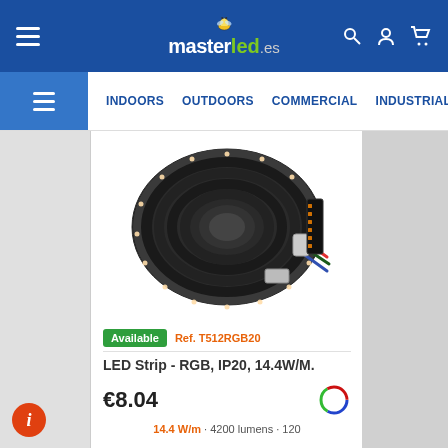masterled.es — INDOORS | OUTDOORS | COMMERCIAL | INDUSTRIAL
[Figure (photo): Coiled RGB LED strip light product photo, showing a black circular reel of LED tape with multicolored (red, green, blue) connector wires]
Available   Ref. T512RGB20
LED Strip - RGB, IP20, 14.4W/M.
€8.04
14.4 W/m · 4200 lumens · 120